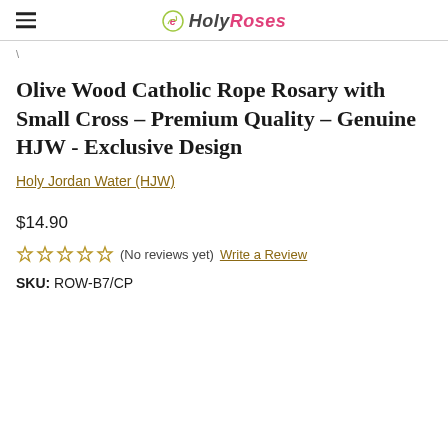HolyRoses
Olive Wood Catholic Rope Rosary with Small Cross – Premium Quality – Genuine HJW - Exclusive Design
Holy Jordan Water (HJW)
$14.90
(No reviews yet) Write a Review
SKU: ROW-B7/CP